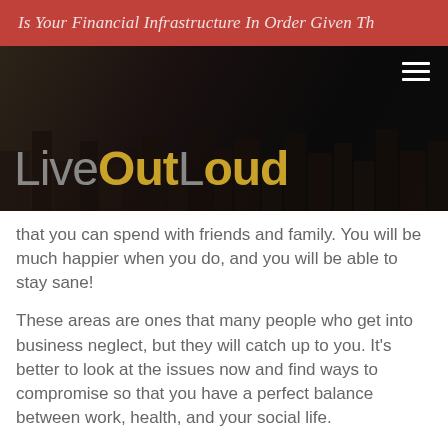Is Your Financial Infrastructure In Order Given Th
[Figure (logo): LiveOutLoud website logo with hamburger menu on dark city background]
that you can spend with friends and family. You will be much happier when you do, and you will be able to stay sane!
These areas are ones that many people who get into business neglect, but they will catch up to you. It’s better to look at the issues now and find ways to compromise so that you have a perfect balance between work, health, and your social life.
What are your plans for maintaining this balance? (you...